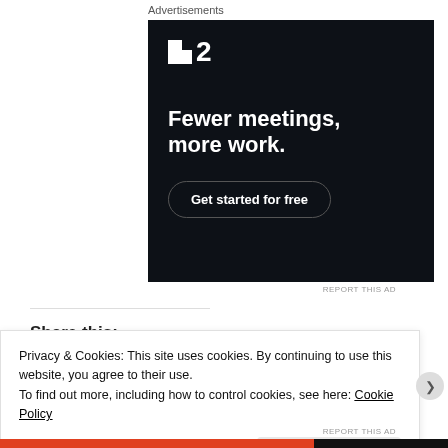Advertisements
[Figure (other): Advertisement for F2 project management app. Dark navy background with white F2 logo (two squares icon and number 2), headline 'Fewer meetings, more work.' and a 'Get started for free' button with rounded border.]
REPORT THIS AD
Share this:
Privacy & Cookies: This site uses cookies. By continuing to use this website, you agree to their use.
To find out more, including how to control cookies, see here: Cookie Policy
Close and accept